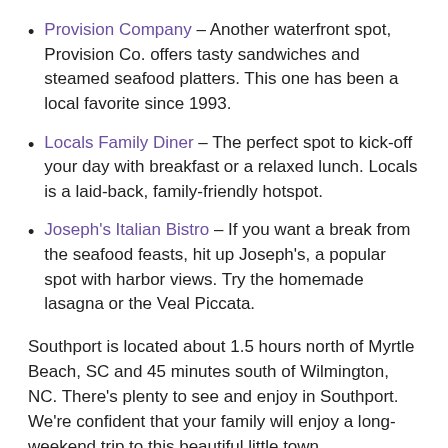Provision Company – Another waterfront spot, Provision Co. offers tasty sandwiches and steamed seafood platters. This one has been a local favorite since 1993.
Locals Family Diner – The perfect spot to kick-off your day with breakfast or a relaxed lunch. Locals is a laid-back, family-friendly hotspot.
Joseph's Italian Bistro – If you want a break from the seafood feasts, hit up Joseph's, a popular spot with harbor views. Try the homemade lasagna or the Veal Piccata.
Southport is located about 1.5 hours north of Myrtle Beach, SC and 45 minutes south of Wilmington, NC. There's plenty to see and enjoy in Southport. We're confident that your family will enjoy a long-weekend trip to this beautiful little town.